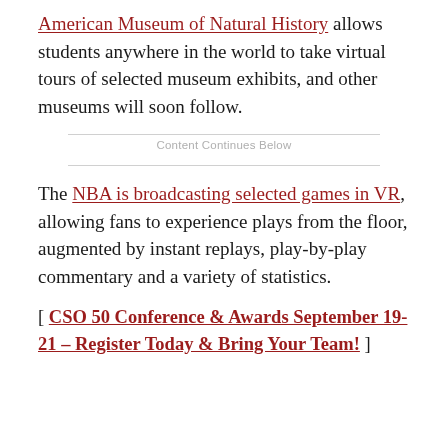American Museum of Natural History allows students anywhere in the world to take virtual tours of selected museum exhibits, and other museums will soon follow.
Content Continues Below
The NBA is broadcasting selected games in VR, allowing fans to experience plays from the floor, augmented by instant replays, play-by-play commentary and a variety of statistics.
[ CSO 50 Conference & Awards September 19-21 – Register Today & Bring Your Team! ]